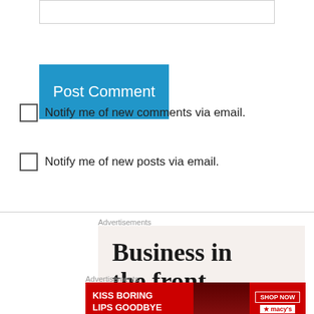[Figure (screenshot): Input text box (empty) at top of page]
[Figure (screenshot): Blue 'Post Comment' button]
Notify me of new comments via email.
Notify me of new posts via email.
Advertisements
[Figure (screenshot): WordPress advertisement banner: 'Business in the front...' with WordPress wordmark on gradient background]
Advertisements
[Figure (screenshot): Macy's advertisement: 'KISS BORING LIPS GOODBYE' with 'SHOP NOW' button and Macy's star logo on red background]